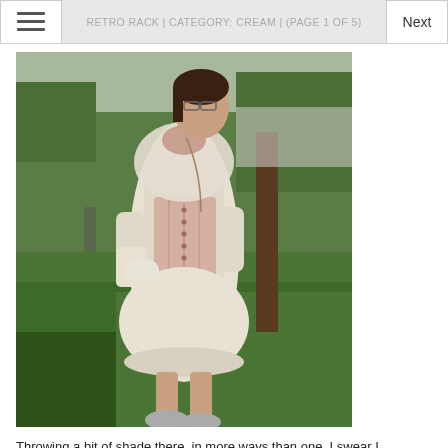RETRO RACK | CATEGORY: CREAM | (PAGE 1 OF 5)
[Figure (photo): Woman standing outdoors on grass in front of a tree. She is wearing a cream/white sheer dress with a pink corset over it, white gloves, and sneakers. She has dark hair, glasses, and a long necklace. She is posing with one hand on her hip. Green trees and a parking lot are visible in the background.]
Throwing a bit of shade there, in more ways than one. I swear I